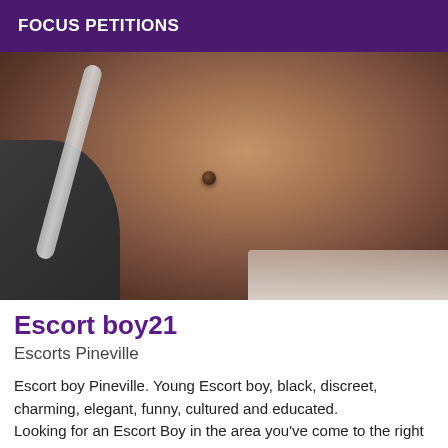FOCUS PETITIONS
[Figure (photo): Close-up photo of a man's bare torso showing muscular abdomen with navel, dark skin tone, with a gray shirt strap visible on the left side and white fabric/surface at the bottom right.]
Escort boy21
Escorts Pineville
Escort boy Pineville. Young Escort boy, black, discreet, charming, elegant, funny, cultured and educated. Looking for an Escort Boy in the area you've come to the right place. My name is philippe I am Escort Boy. I am